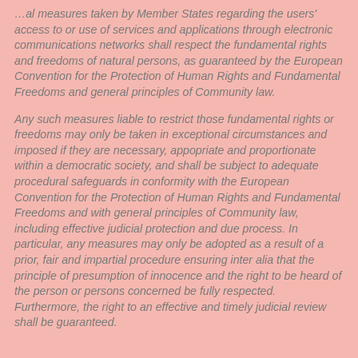…al measures taken by Member States regarding the users' access to or use of services and applications through electronic communications networks shall respect the fundamental rights and freedoms of natural persons, as guaranteed by the European Convention for the Protection of Human Rights and Fundamental Freedoms and general principles of Community law.
Any such measures liable to restrict those fundamental rights or freedoms may only be taken in exceptional circumstances and imposed if they are necessary, appopriate and proportionate within a democratic society, and shall be subject to adequate procedural safeguards in conformity with the European Convention for the Protection of Human Rights and Fundamental Freedoms and with general principles of Community law, including effective judicial protection and due process. In particular, any measures may only be adopted as a result of a prior, fair and impartial procedure ensuring inter alia that the principle of presumption of innocence and the right to be heard of the person or persons concerned be fully respected. Furthermore, the right to an effective and timely judicial review shall be guaranteed.